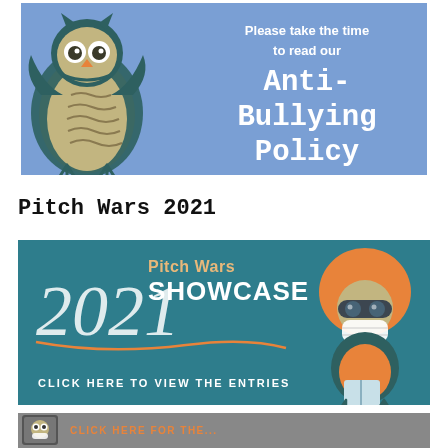[Figure (illustration): Blue banner with cartoon owl on left and text 'Please take the time to read our Anti-Bullying Policy' on right in white]
Pitch Wars 2021
[Figure (illustration): Teal banner showing '2021 Pitch Wars SHOWCASE – CLICK HERE TO VIEW THE ENTRIES' with a cartoon owl wearing a mask and orange helmet on the right]
[Figure (illustration): Gray banner at bottom partially visible with small owl image and orange text]